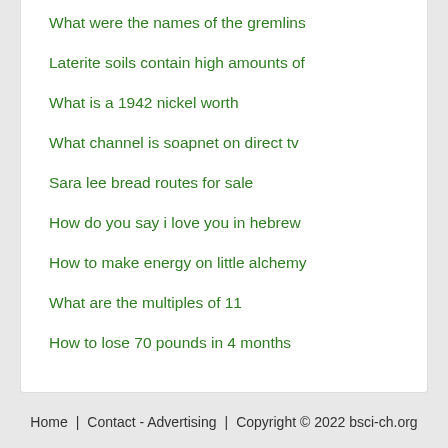What were the names of the gremlins
Laterite soils contain high amounts of
What is a 1942 nickel worth
What channel is soapnet on direct tv
Sara lee bread routes for sale
How do you say i love you in hebrew
How to make energy on little alchemy
What are the multiples of 11
How to lose 70 pounds in 4 months
Home   Contact - Advertising   Copyright © 2022 bsci-ch.org